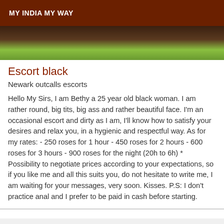MY INDIA MY WAY
[Figure (photo): Partial photo of a person wearing green clothing, dark background]
Escort black
Newark outcalls escorts
Hello My Sirs, I am Bethy a 25 year old black woman. I am rather round, big tits, big ass and rather beautiful face. I'm an occasional escort and dirty as I am, I'll know how to satisfy your desires and relax you, in a hygienic and respectful way. As for my rates: - 250 roses for 1 hour - 450 roses for 2 hours - 600 roses for 3 hours - 900 roses for the night (20h to 6h) * Possibility to negotiate prices according to your expectations, so if you like me and all this suits you, do not hesitate to write me, I am waiting for your messages, very soon. Kisses. P.S: I don't practice anal and I prefer to be paid in cash before starting.